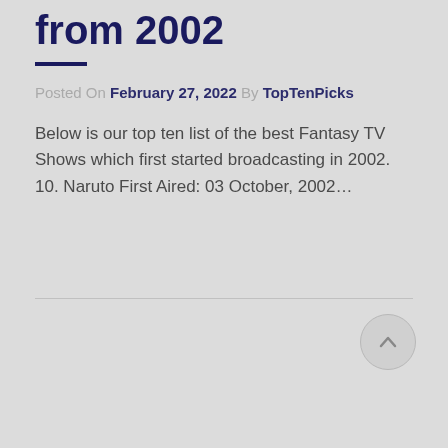from 2002
Posted On February 27, 2022 By TopTenPicks
Below is our top ten list of the best Fantasy TV Shows which first started broadcasting in 2002. 10. Naruto First Aired: 03 October, 2002…